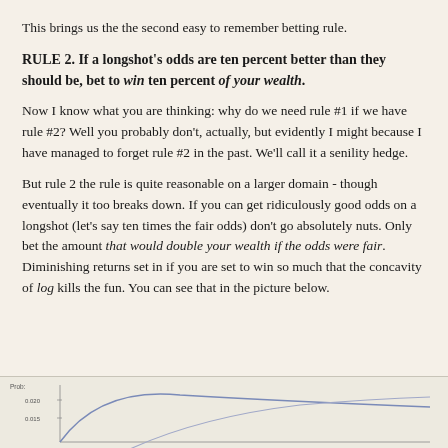This brings us the the second easy to remember betting rule.
RULE 2. If a longshot's odds are ten percent better than they should be, bet to win ten percent of your wealth.
Now I know what you are thinking: why do we need rule #1 if we have rule #2? Well you probably don't, actually, but evidently I might because I have managed to forget rule #2 in the past. We'll call it a senility hedge.
But rule 2 the rule is quite reasonable on a larger domain - though eventually it too breaks down. If you can get ridiculously good odds on a longshot (let's say ten times the fair odds) don't go absolutely nuts. Only bet the amount that would double your wealth if the odds were fair. Diminishing returns set in if you are set to win so much that the concavity of log kills the fun. You can see that in the picture below.
[Figure (continuous-plot): Partial view of a curve chart showing a concave function, likely log utility or expected value as a function of bet size. Y-axis labeled 'Prob:' with values 0.020 and 0.015 visible. The curve rises then flattens, showing diminishing returns.]